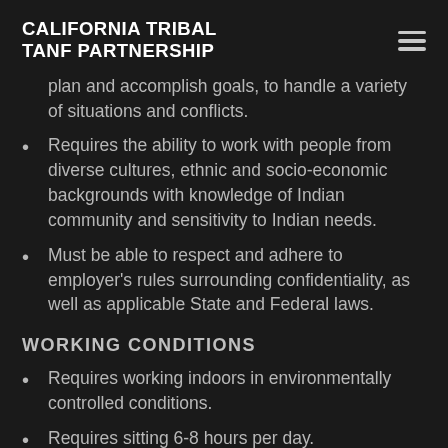CALIFORNIA TRIBAL TANF PARTNERSHIP
plan and accomplish goals, to handle a variety of situations and conflicts.
Requires the ability to work with people from diverse cultures, ethnic and socio-economic backgrounds with knowledge of Indian community and sensitivity to Indian needs.
Must be able to respect and adhere to employer's rules surrounding confidentiality, as well as applicable State and Federal laws.
WORKING CONDITIONS
Requires working indoors in environmentally controlled conditions.
Requires sitting 6-8 hours per day.